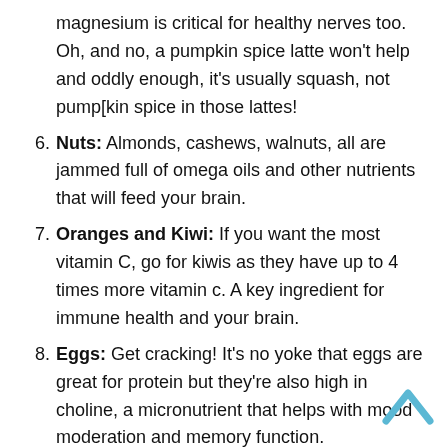magnesium is critical for healthy nerves too. Oh, and no, a pumpkin spice latte won't help and oddly enough, it's usually squash, not pump[kin spice in those lattes!
Nuts: Almonds, cashews, walnuts, all are jammed full of omega oils and other nutrients that will feed your brain.
Oranges and Kiwi: If you want the most vitamin C, go for kiwis as they have up to 4 times more vitamin c. A key ingredient for immune health and your brain.
Eggs: Get cracking! It's no yoke that eggs are great for protein but they're also high in choline, a micronutrient that helps with mood moderation and memory function.
Green tea and Rooibos tea: With green tea